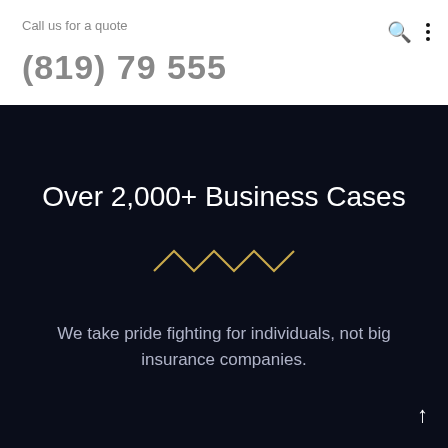Call us for a quote
(819) 79 555
Over 2,000+ Business Cases
[Figure (illustration): Gold zigzag/chevron decorative wave line]
We take pride fighting for individuals, not big insurance companies.